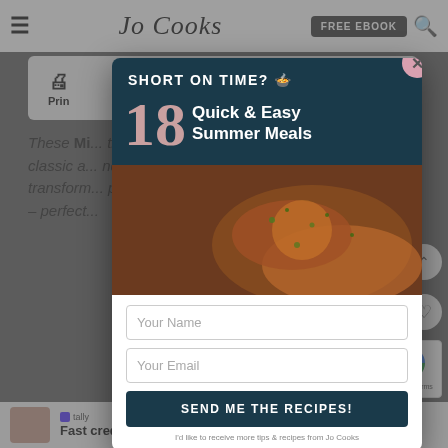Jo Cooks | FREE EBOOK
[Figure (screenshot): Action bar with print icon and rate/star icon on a light gray background]
These Mi... the classic a... nd transform... ppetizer – perfect...
[Figure (infographic): Popup modal overlay: 'SHORT ON TIME? 18 Quick & Easy Summer Meals' newsletter signup form with Your Name and Your Email fields, SEND ME THE RECIPES! button, and food photo background. Close button (X) in top right.]
1,051
[Figure (screenshot): Bottom advertisement bar: Tally app - Fast credit card payoff with Download Now button. reCAPTCHA privacy badge on bottom right.]